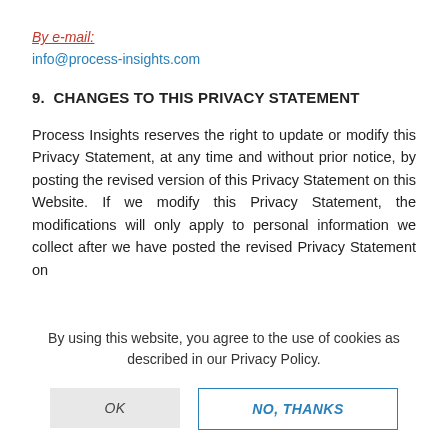By e-mail:
info@process-insights.com
9.  CHANGES TO THIS PRIVACY STATEMENT
Process Insights reserves the right to update or modify this Privacy Statement, at any time and without prior notice, by posting the revised version of this Privacy Statement on this Website. If we modify this Privacy Statement, the modifications will only apply to personal information we collect after we have posted the revised Privacy Statement on
By using this website, you agree to the use of cookies as described in our Privacy Policy.
OK
NO, THANKS